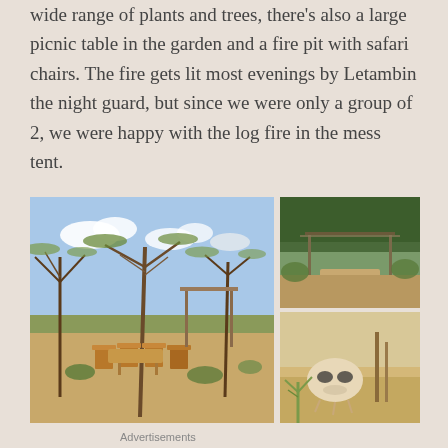wide range of plants and trees, there's also a large picnic table in the garden and a fire pit with safari chairs. The fire gets lit most evenings by Letambin the night guard, but since we were only a group of 2, we were happy with the log fire in the mess tent.
[Figure (photo): Three photos of a safari camp garden: left large photo shows safari chairs and tables among trees and plants under a blue sky; top right shows a shaded structure among greenery; bottom right shows an animal skull or wildlife near vegetation.]
Advertisements
[Figure (screenshot): DuckDuckGo advertisement banner with orange background. Text reads: Search, browse, and email with more privacy. All in One Free App. Shows a smartphone with DuckDuckGo app and logo.]